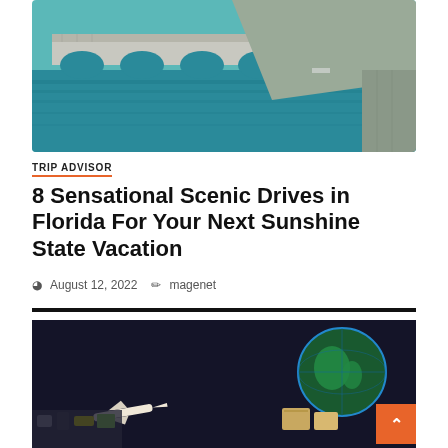[Figure (photo): Photo of a long concrete bridge with multiple arches over turquoise water, viewed from a low angle beneath another bridge structure.]
TRIP ADVISOR
8 Sensational Scenic Drives in Florida For Your Next Sunshine State Vacation
August 12, 2022   magenet
[Figure (infographic): Banner image with dark background showing '3 min read', bold green text 'Beli Komponen', blue and yellow text 'dari LUAR NEGERI', a globe, an airplane, and electronic components.]